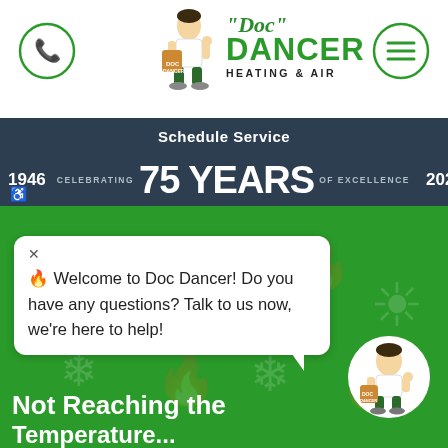[Figure (logo): Doc Dancer Heating & Air logo with mascot character carrying a bag, phone icon on left, hamburger menu icon on right]
Schedule Service
1946 CELEBRATING 75 YEARS OF EXCELLENCE 2021
✕ 🔥 Welcome to Doc Dancer! Do you have any questions? Talk to us now, we're here to help!
[Figure (illustration): Circular mascot icon of Doc Dancer character running with bag]
Not Reaching the Temperature...